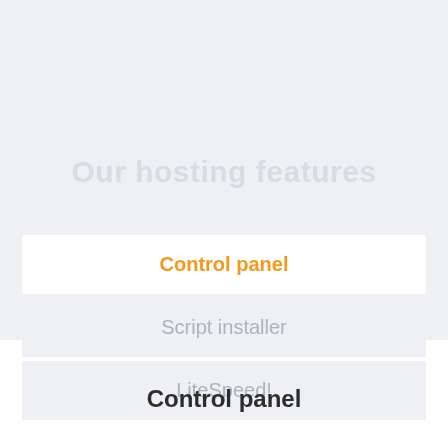Our hosting features
Control panel
Script installer
LiteSpeed!
Control panel